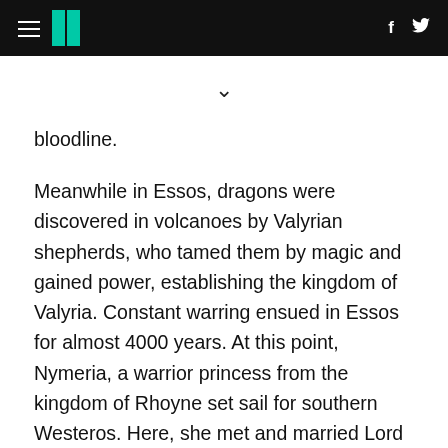≡  ‖  f  🐦
bloodline.
Meanwhile in Essos, dragons were discovered in volcanoes by Valyrian shepherds, who tamed them by magic and gained power, establishing the kingdom of Valyria. Constant warring ensued in Essos for almost 4000 years. At this point, Nymeria, a warrior princess from the kingdom of Rhoyne set sail for southern Westeros. Here, she met and married Lord Martell after burning her 10,000 ships. Thus was established Dorne, and House Martell was formed. Valyrian Freehold